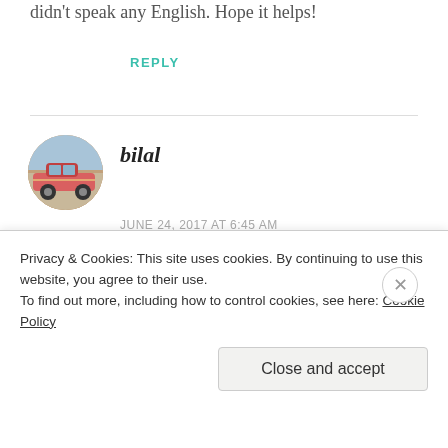didn't speak any English. Hope it helps!
REPLY
[Figure (photo): Circular avatar photo of a vintage pink car]
bilal
JUNE 24, 2017 AT 6:45 AM
Hi, can you say more about how long you stayed in Dokdo, and travel time? Can we visit something else or we need to reserve a day for
Privacy & Cookies: This site uses cookies. By continuing to use this website, you agree to their use. To find out more, including how to control cookies, see here: Cookie Policy
Close and accept